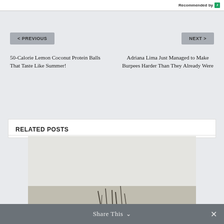Recommended by
< PREVIOUS
NEXT >
50-Calorie Lemon Coconut Protein Balls That Taste Like Summer!
Adriana Lima Just Managed to Make Burpees Harder Than They Already Were
RELATED POSTS
[Figure (photo): A photo placeholder showing light grey background with dark reed or stick shapes at the bottom, part of a Related Posts section]
Share This